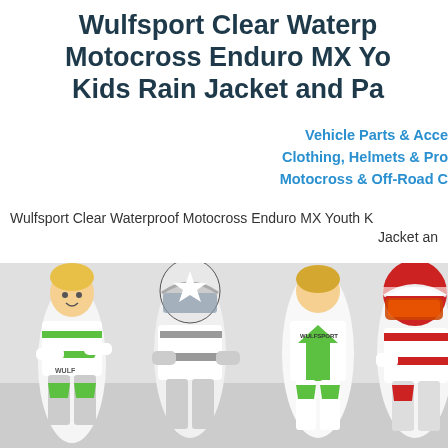Wulfsport Clear Waterproof Motocross Enduro MX Youth Kids Rain Jacket and Pants
Vehicle Parts & Accessories
Clothing, Helmets & Protection
Motocross & Off-Road Clothing
Wulfsport Clear Waterproof Motocross Enduro MX Youth Kids Rain Jacket and Pants
[Figure (photo): Four children wearing Wulfsport motocross gear including helmets and green/white/black MX suits and one in red/white, shown from various angles against white/grey background]